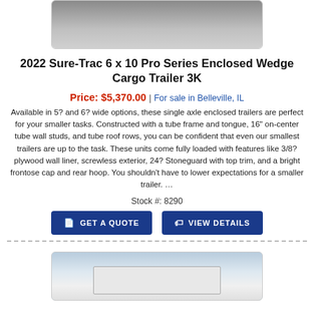[Figure (photo): Top portion of a trailer, partially visible at top of page]
2022 Sure-Trac 6 x 10 Pro Series Enclosed Wedge Cargo Trailer 3K
Price: $5,370.00 | For sale in Belleville, IL
Available in 5? and 6? wide options, these single axle enclosed trailers are perfect for your smaller tasks. Constructed with a tube frame and tongue, 16" on-center tube wall studs, and tube roof rows, you can be confident that even our smallest trailers are up to the task. These units come fully loaded with features like 3/8? plywood wall liner, screwless exterior, 24? Stoneguard with top trim, and a bright frontose cap and rear hoop. You shouldn't have to lower expectations for a smaller trailer. ...
Stock #: 8290
[Figure (photo): Bottom portion showing another trailer listing, white enclosed trailer against sky]